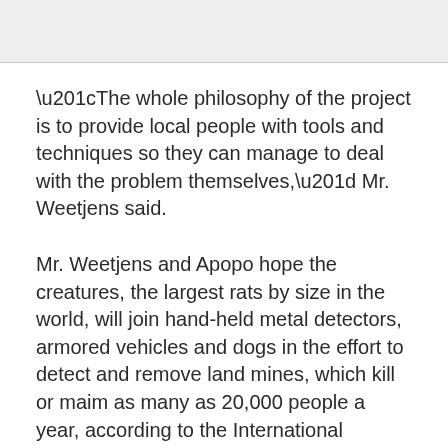[Figure (photo): Gray placeholder image area at the top of the page]
“The whole philosophy of the project is to provide local people with tools and techniques so they can manage to deal with the problem themselves,” Mr. Weetjens said.
Mr. Weetjens and Apopo hope the creatures, the largest rats by size in the world, will join hand-held metal detectors, armored vehicles and dogs in the effort to detect and remove land mines, which kill or maim as many as 20,000 people a year, according to the International Campaign to Ban Land Mines.